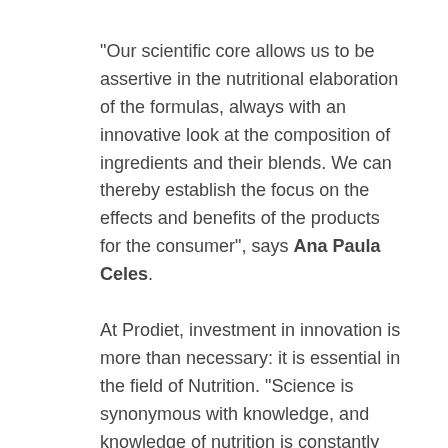“Our scientific core allows us to be assertive in the nutritional elaboration of the formulas, always with an innovative look at the composition of ingredients and their blends. We can thereby establish the focus on the effects and benefits of the products for the consumer”, says Ana Paula Celes.
At Prodiet, investment in innovation is more than necessary: it is essential in the field of Nutrition. “Science is synonymous with knowledge, and knowledge of nutrition is constantly evolving,” says Hellin dos Santos, the